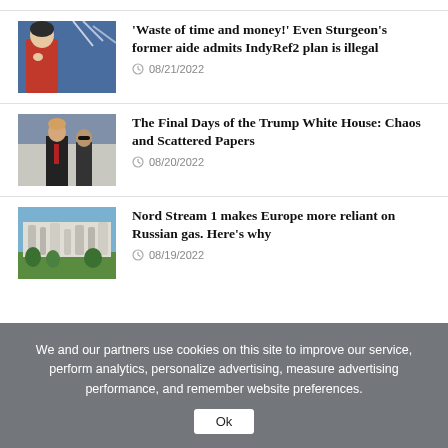[Figure (photo): Woman in red jacket with Scottish flags in background]
'Waste of time and money!' Even Sturgeon's former aide admits IndyRef2 plan is illegal
08/21/2022
[Figure (photo): Man in dark suit and red tie standing outside building]
The Final Days of the Trump White House: Chaos and Scattered Papers
08/20/2022
[Figure (photo): Industrial gas facility with pipelines and trees]
Nord Stream 1 makes Europe more reliant on Russian gas. Here's why
08/19/2022
We and our partners use cookies on this site to improve our service, perform analytics, personalize advertising, measure advertising performance, and remember website preferences.
Ok